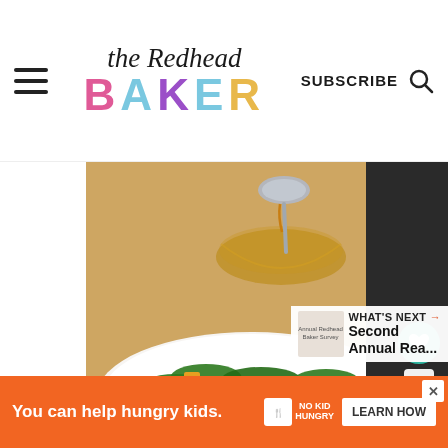the Redhead BAKER — SUBSCRIBE
[Figure (photo): Food photo showing a spinach salad with butternut squash cubes, grilled chicken strips, and bacon, on a white plate. In the background, a glass bowl of amber-colored dressing with a spoon drizzling it, set on a wooden cutting board with a blue cloth napkin.]
WHAT'S NEXT → Second Annual Rea...
You can help hungry kids. NO KID HUNGRY LEARN HOW